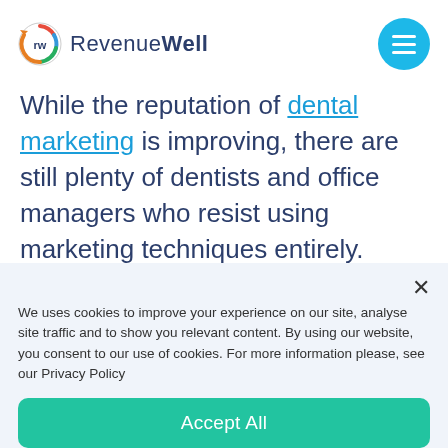RevenueWell
While the reputation of dental marketing is improving, there are still plenty of dentists and office managers who resist using marketing techniques entirely.

They assume marketing involves a moral compromise — slicked back hair, a fake smile, and a sales agenda. Others see it as a necessary evil
We uses cookies to improve your experience on our site, analyse site traffic and to show you relevant content. By using our website, you consent to our use of cookies. For more information please, see our Privacy Policy
Accept All